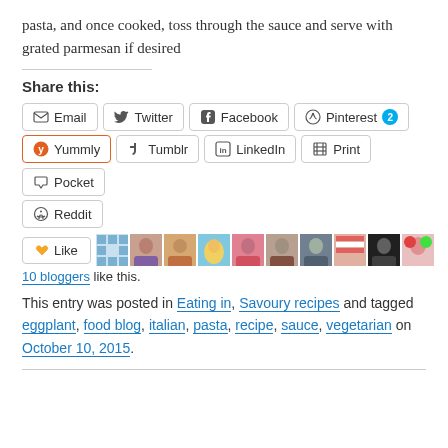pasta, and once cooked, toss through the sauce and serve with grated parmesan if desired
Share this:
Email Twitter Facebook Pinterest 2 Yummly Tumblr LinkedIn Print Pocket Reddit
[Figure (other): Like button with blogger avatars strip]
10 bloggers like this.
This entry was posted in Eating in, Savoury recipes and tagged eggplant, food blog, italian, pasta, recipe, sauce, vegetarian on October 10, 2015.